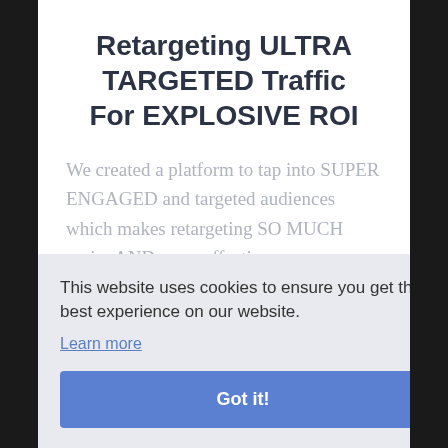Retargeting ULTRA TARGETED Traffic For EXPLOSIVE ROI
We created a platform to tap into SUPER ENGAGED and targeted audiences which makes retargeting SO MUCH easier AND more effective.
This website uses cookies to ensure you get the best experience on our website.
Learn more
Got it!
sales almost immediately.